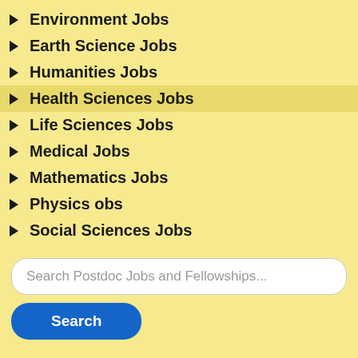Environment Jobs
Earth Science Jobs
Humanities Jobs
Health Sciences Jobs
Life Sciences Jobs
Medical Jobs
Mathematics Jobs
Physics obs
Social Sciences Jobs
Search Postdoc Jobs and Fellowships...
[Figure (logo): Rutgers University logo with circular seal and red RUTGERS text]